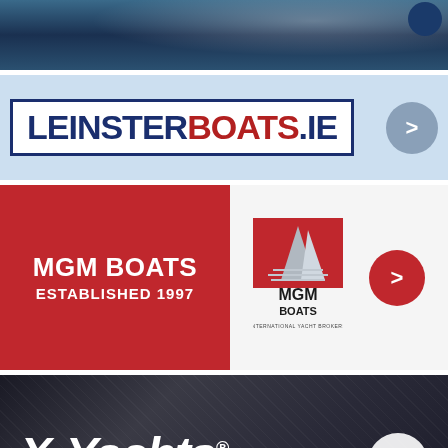[Figure (photo): Ocean/water scene banner with dark blue water and light reflections, small dark circle in top right corner]
[Figure (logo): LeinsterBoats.ie logo in white box with navy border on light blue background, navy LEINSTER text and red BOATS text followed by .IE, with gray navigation arrow circle on right]
[Figure (logo): MGM Boats banner: red box with white text MGM BOATS ESTABLISHED 1997 on left, MGM Boats International Yacht Brokers logo on right with red navigation circle]
[Figure (logo): X-Yachts dark banner with italic white X-Yachts logo text, subtitle WORLD CLASS SINCE 1979, white navigation circle on right]
FEATURED ASSOCIATIONS